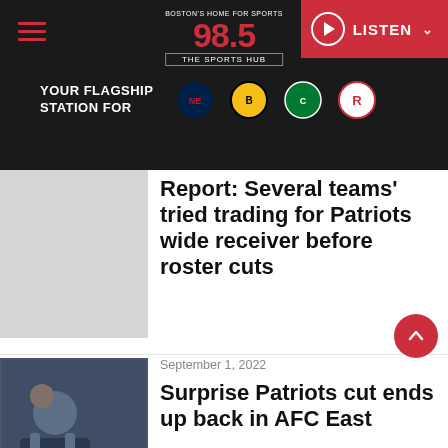98.5 The Sports Hub — YOUR FLAGSHIP STATION FOR [Patriots, Bruins, Celtics, Revolution logos] — LISTEN
Report: Several teams' tried trading for Patriots wide receiver before roster cuts
September 1, 2022
Surprise Patriots cut ends up back in AFC East